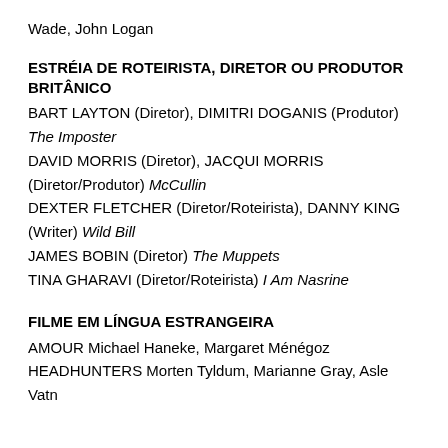Wade, John Logan
ESTRÉIA DE ROTEIRISTA, DIRETOR OU PRODUTOR BRITÂNICO
BART LAYTON (Diretor), DIMITRI DOGANIS (Produtor) The Imposter
DAVID MORRIS (Diretor), JACQUI MORRIS (Diretor/Produtor) McCullin
DEXTER FLETCHER (Diretor/Roteirista), DANNY KING (Writer) Wild Bill
JAMES BOBIN (Diretor) The Muppets
TINA GHARAVI (Diretor/Roteirista) I Am Nasrine
FILME EM LÍNGUA ESTRANGEIRA
AMOUR Michael Haneke, Margaret Ménégoz
HEADHUNTERS Morten Tyldum, Marianne Gray, Asle Vatn